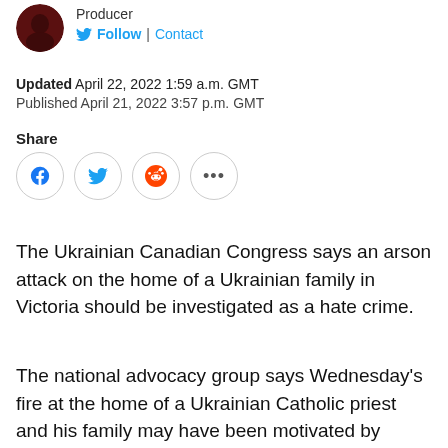[Figure (photo): Small circular avatar photo of a person in dark red/maroon clothing]
Producer
Follow | Contact
Updated April 22, 2022 1:59 a.m. GMT
Published April 21, 2022 3:57 p.m. GMT
Share
[Figure (other): Social share buttons: Facebook, Twitter, Reddit, and more (...)]
The Ukrainian Canadian Congress says an arson attack on the home of a Ukrainian family in Victoria should be investigated as a hate crime.
The national advocacy group says Wednesday's fire at the home of a Ukrainian Catholic priest and his family may have been motivated by Father Yuriy Vyshnevskyy's support for Ukraine amid Russia's ongoing war